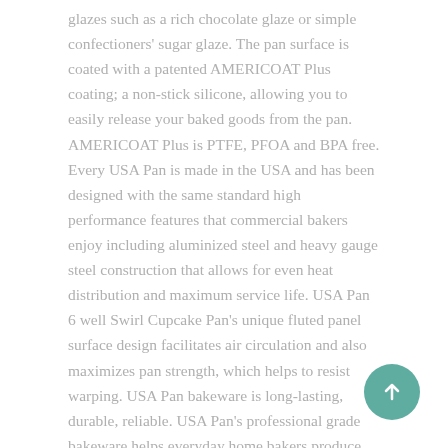glazes such as a rich chocolate glaze or simple confectioners' sugar glaze. The pan surface is coated with a patented AMERICOAT Plus coating; a non-stick silicone, allowing you to easily release your baked goods from the pan. AMERICOAT Plus is PTFE, PFOA and BPA free. Every USA Pan is made in the USA and has been designed with the same standard high performance features that commercial bakers enjoy including aluminized steel and heavy gauge steel construction that allows for even heat distribution and maximum service life. USA Pan 6 well Swirl Cupcake Pan's unique fluted panel surface design facilitates air circulation and also maximizes pan strength, which helps to resist warping. USA Pan bakeware is long-lasting, durable, reliable. USA Pan's professional grade bakeware helps everyday home bakers produce professional grade baked goods. USA Pan is a Bundy Family owned company, based in Pennsylvania that has been producing high performance bakeware for over 50 years.
[Figure (other): Teal circular scroll-to-top button with upward arrow, positioned at bottom right.]